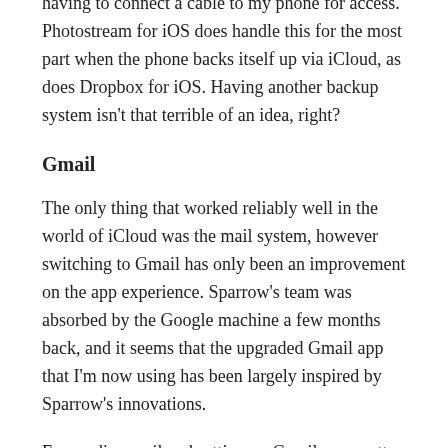having to connect a cable to my phone for access. Photostream for iOS does handle this for the most part when the phone backs itself up via iCloud, as does Dropbox for iOS. Having another backup system isn't that terrible of an idea, right?
Gmail
The only thing that worked reliably well in the world of iCloud was the mail system, however switching to Gmail has only been an improvement on the app experience. Sparrow's team was absorbed by the Google machine a few months back, and it seems that the upgraded Gmail app that I'm now using has been largely inspired by Sparrow's innovations.
Forwarding mail and setting up Gmail was pretty simple and I haven't had problems with getting or sending mail since. On the web, Gmail is the